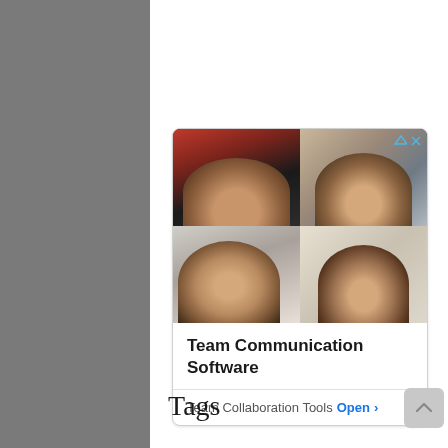[Figure (screenshot): An advertisement card showing a video conference grid with 4 participants (top-left: woman with dark hair in red kitchen; top-right: man with beard in light room; bottom-left: bald man resting chin on hand; bottom-right: woman with brown hair). The card has a title 'Team Communication Software' and a footer link 'Team Collaboration Tools Open >'.]
Tags